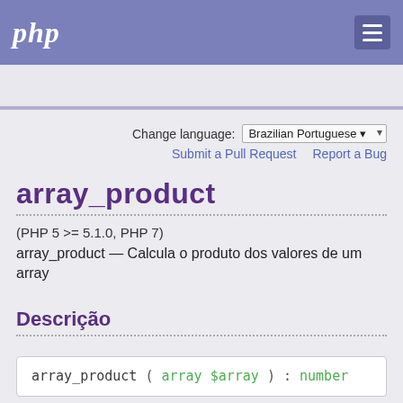php
Search
Change language: Brazilian Portuguese
Submit a Pull Request   Report a Bug
array_product
(PHP 5 >= 5.1.0, PHP 7)
array_product — Calcula o produto dos valores de um array
Descrição
array_product ( array $array ) : number